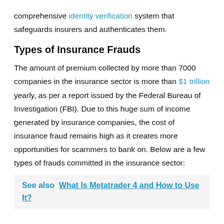comprehensive identity verification system that safeguards insurers and authenticates them.
Types of Insurance Frauds
The amount of premium collected by more than 7000 companies in the insurance sector is more than $1 trillion yearly, as per a report issued by the Federal Bureau of Investigation (FBI). Due to this huge sum of income generated by insurance companies, the cost of insurance fraud remains high as it creates more opportunities for scammers to bank on. Below are a few types of frauds committed in the insurance sector:
See also  What Is Metatrader 4 and How to Use It?